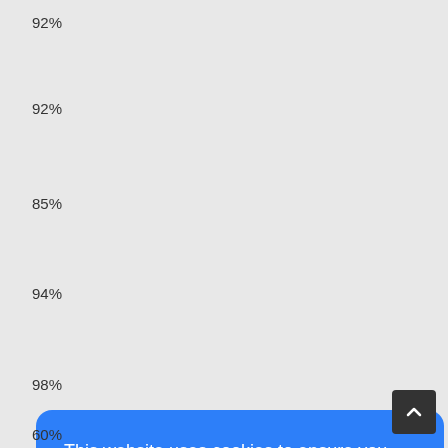92%
92%
85%
94%
98%
This website uses cookies to ensure you get the best experience on our website. Our partners will collect data and use cookies for ad personalization and measurement.
Learn how we and our partners collect and use data.
OK
60%